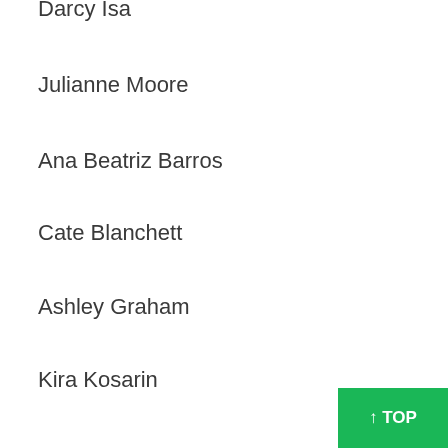Darcy Isa
Julianne Moore
Ana Beatriz Barros
Cate Blanchett
Ashley Graham
Kira Kosarin
Soleil Moon Frye
Dakota Johnson
Sarah Michelle Gellar
Paolla Oliveira
Lourdes Leon